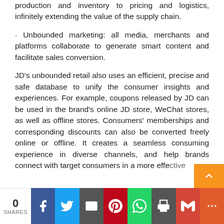production and inventory to pricing and logistics, infinitely extending the value of the supply chain.
· Unbounded marketing: all media, merchants and platforms collaborate to generate smart content and facilitate sales conversion.
JD's unbounded retail also uses an efficient, precise and safe database to unify the consumer insights and experiences. For example, coupons released by JD can be used in the brand's online JD store, WeChat stores, as well as offline stores. Consumers' memberships and corresponding discounts can also be converted freely online or offline. It creates a seamless consuming experience in diverse channels, and help brands connect with target consumers in a more effective way.
0 SHARES | Social share buttons: Facebook, Twitter, Email, Pinterest, WhatsApp, Print, Gmail, More